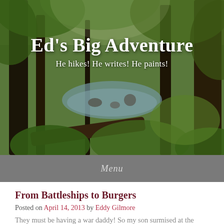[Figure (photo): Forest scene with trees, creek/stream visible through foliage, green leaves, sunlit woodland. Header image for blog 'Ed's Big Adventure'.]
Ed's Big Adventure
He hikes! He writes! He paints!
Menu
From Battleships to Burgers
Posted on April 14, 2013 by Eddy Gilmore
They must be having a war daddy! So my son surmised at the